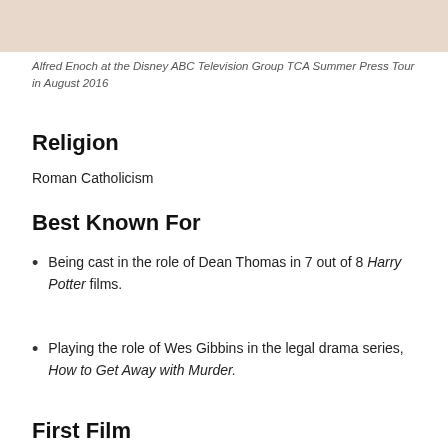[Figure (photo): Partial photo of Alfred Enoch, cropped at top of page]
Alfred Enoch at the Disney ABC Television Group TCA Summer Press Tour in August 2016
Religion
Roman Catholicism
Best Known For
Being cast in the role of Dean Thomas in 7 out of 8 Harry Potter films.
Playing the role of Wes Gibbins in the legal drama series, How to Get Away with Murder.
First Film